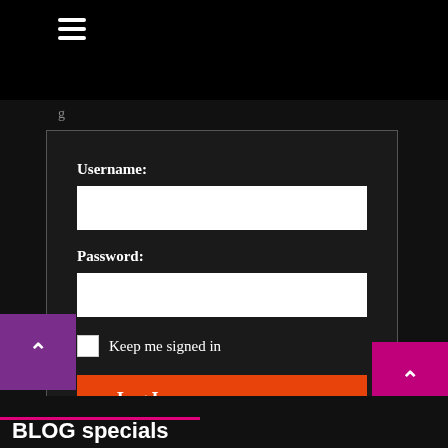[Figure (screenshot): Black top navigation bar with hamburger menu icon (three horizontal lines) on the left side]
Username:
Password:
Keep me signed in
Log In
Register
BLOG specials